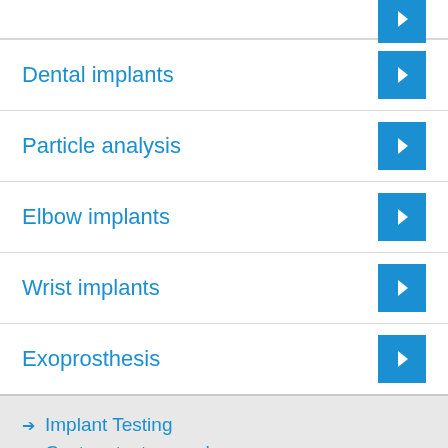Dental implants
Particle analysis
Elbow implants
Wrist implants
Exoprosthesis
→ Implant Testing
→ Custom test procedures
→ Finite Element Analysis
→ Simulators